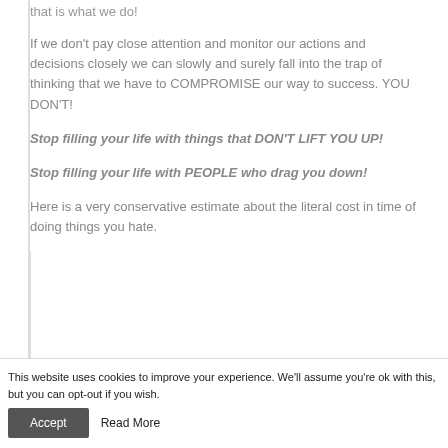that is what we do!
If we don't pay close attention and monitor our actions and decisions closely we can slowly and surely fall into the trap of thinking that we have to COMPROMISE our way to success. YOU DON'T!
Stop filling your life with things that DON'T LIFT YOU UP!
Stop filling your life with PEOPLE who drag you down!
Here is a very conservative estimate about the literal cost in time of doing things you hate.
This website uses cookies to improve your experience. We'll assume you're ok with this, but you can opt-out if you wish.  Accept  Read More